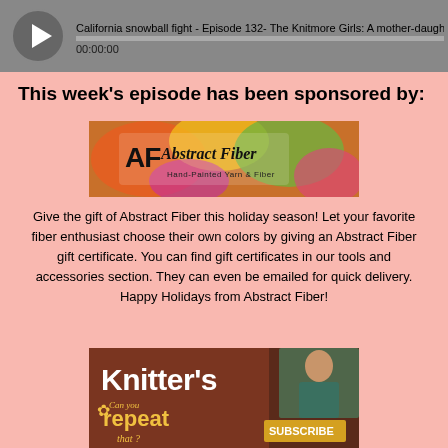California snowball fight - Episode 132- The Knitmore Girls: A mother-daughter k | 00:00:00
This week's episode has been sponsored by:
[Figure (logo): Abstract Fiber banner — Hand-Painted Yarn & Fiber logo with colorful yarn balls]
Give the gift of Abstract Fiber this holiday season! Let your favorite fiber enthusiast choose their own colors by giving an Abstract Fiber gift certificate. You can find gift certificates in our tools and accessories section. They can even be emailed for quick delivery. Happy Holidays from Abstract Fiber!
[Figure (photo): Knitter's magazine ad showing 'Can you repeat that?' text with a woman and SUBSCRIBE button]